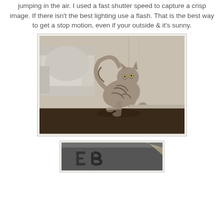jumping in the air.  I used a fast shutter speed to capture a crisp image.  If there isn't the best lighting use a flash.  That is the best way to get a stop motion, even if your outside & it's sunny.
[Figure (photo): Black and white photograph of a tabby cat jumping in the air inside a room, with a sofa and wooden paneled wall in the background.]
[Figure (photo): Partial view of a second black and white photograph showing what appears to be a room interior with decorative letters visible.]